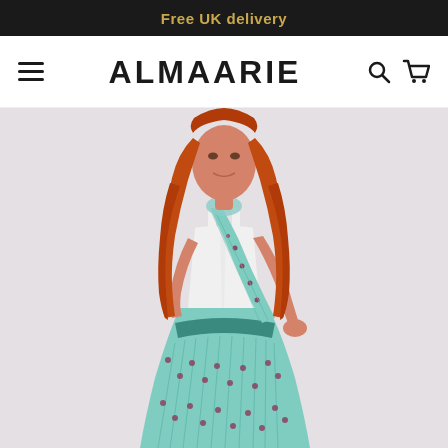Free UK delivery
ALMAARIE
[Figure (photo): A young woman with long red hair wearing a white sleeveless top and a teal/mint green floral printed wrap skirt or dress, standing against a light grey background. The outfit features a bohemian floral pattern in teal and burgundy.]